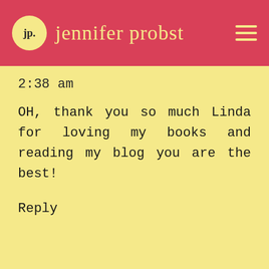jp. jennifer probst
2:38 am
OH, thank you so much Linda for loving my books and reading my blog you are the best!
Reply